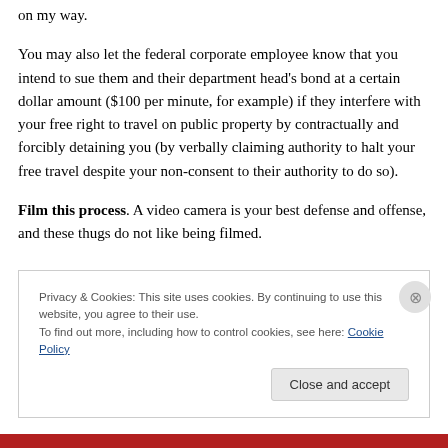on my way.
You may also let the federal corporate employee know that you intend to sue them and their department head’s bond at a certain dollar amount ($100 per minute, for example) if they interfere with your free right to travel on public property by contractually and forcibly detaining you (by verbally claiming authority to halt your free travel despite your non-consent to their authority to do so).
Film this process. A video camera is your best defense and offense, and these thugs do not like being filmed.
Privacy & Cookies: This site uses cookies. By continuing to use this website, you agree to their use.
To find out more, including how to control cookies, see here: Cookie Policy
Close and accept